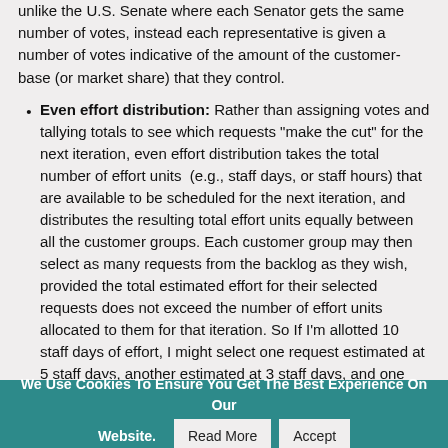unlike the U.S. Senate where each Senator gets the same number of votes, instead each representative is given a number of votes indicative of the amount of the customer-base (or market share) that they control.
Even effort distribution: Rather than assigning votes and tallying totals to see which requests "make the cut" for the next iteration, even effort distribution takes the total number of effort units (e.g., staff days, or staff hours) that are available to be scheduled for the next iteration, and distributes the resulting total effort units equally between all the customer groups. Each customer group may then select as many requests from the backlog as they wish, provided the total estimated effort for their selected requests does not exceed the number of effort units allocated to them for that iteration. So If I'm allotted 10 staff days of effort, I might select one request estimated at 5 staff days, another estimated at 3 staff days, and one more estimated at 2 staff days.
Weighted effort distribution: Instead of evenly distributing effort units among all the customer groups, each customer group is allocated a number of effort units that is directly proportional to the amount of funding (or business revenue, or investment capital, etc.) they provide to the project. The weight factor is determined the same way as with the normative voting approach, but it applies
We Use Cookies To Ensure You Get The Best Experience On Our Website. Read More Accept